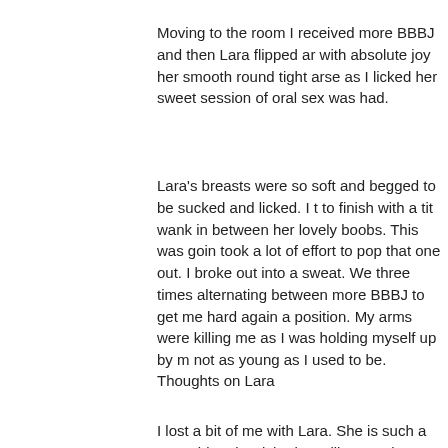Moving to the room I received more BBBJ and then Lara flipped and with absolute joy her smooth round tight arse as I licked her sweet session of oral sex was had.
Lara's breasts were so soft and begged to be sucked and licked. I to finish with a tit wank in between her lovely boobs. This was going took a lot of effort to pop that one out. I broke out into a sweat. We three times alternating between more BBBJ to get me hard again a position. My arms were killing me as I was holding myself up by my not as young as I used to be.
Thoughts on Lara
I lost a bit of me with Lara. She is such a cute girl and I wished I co like Lara in London as I would never leave home.
* Jennifer from Hungary -
Jennifer Description
Jennifer from Hungary is a 20 year old girl with mid back long straig eyes, a few freckles on her face, C cup boobs, nice legs, smooth s no tattoos. I prefer girls to not have tattoos as to me it seems more reason looks more nude. She has a round button nose and lips tha cock in them. I was asked later by some German guys who saw me whether she was German as she did have the Germanic look abou